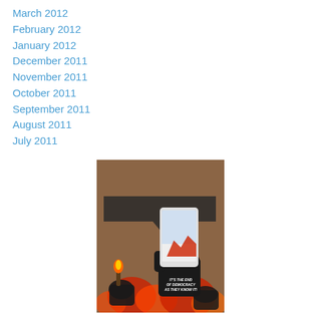March 2012
February 2012
January 2012
December 2011
November 2011
October 2011
September 2011
August 2011
July 2011
[Figure (illustration): Book cover: 'Who's Afraid of The Media-Political Complex?' showing a black fist holding a smartphone with fire imagery, described as 'It's the end of democracy as they know it']